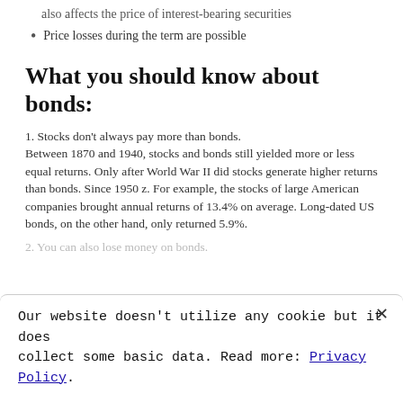also affects the price of interest-bearing securities
Price losses during the term are possible
What you should know about bonds:
1. Stocks don't always pay more than bonds.
Between 1870 and 1940, stocks and bonds still yielded more or less equal returns. Only after World War II did stocks generate higher returns than bonds. Since 1950 z. For example, the stocks of large American companies brought annual returns of 13.4% on average. Long-dated US bonds, on the other hand, only returned 5.9%.
2. You can also lose money on bonds.
Our website doesn't utilize any cookie but it does collect some basic data. Read more: Privacy Policy.